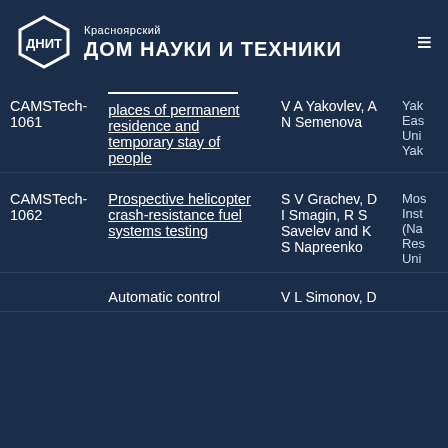Красноярский ДОМ НАУКИ И ТЕХНИКИ (ДНИТ)
| ID | Title | Authors | Organization |
| --- | --- | --- | --- |
| CAMSTech-1061 | places of permanent residence and temporary stay of people | V A Yakovlev, A N Semenova | Yak... Eas... Uni... Yak... |
| CAMSTech-1062 | Prospective helicopter crash-resistance fuel systems testing | S V Grachev, D I Smagin, R S Savelev and K S Napreenko | Mos... Inst... (Na... Res... Uni... |
|  | Automatic control | V L Simonov, D |  |